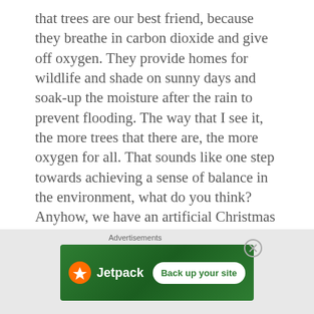that trees are our best friend, because they breathe in carbon dioxide and give off oxygen. They provide homes for wildlife and shade on sunny days and soak-up the moisture after the rain to prevent flooding. The way that I see it, the more trees that there are, the more oxygen for all. That sounds like one step towards achieving a sense of balance in the environment, what do you think? Anyhow, we have an artificial Christmas tree that was Connie's which takes several hours
[Figure (other): Advertisement banner for Jetpack with green background, Jetpack logo with lightning bolt icon, and 'Back up your site' button]